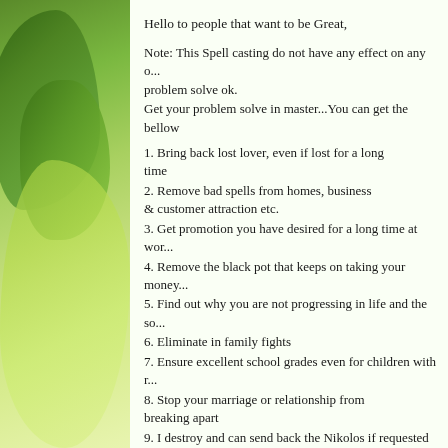[Figure (photo): Green leaves background on the left side of the page]
Hello to people that want to be Great,
Note: This Spell casting do not have any effect on any o... problem solve ok.
Get your problem solve in master...You can get the bellow
1. Bring back lost lover, even if lost for a long time
2. Remove bad spells from homes, business & customer attraction etc.
3. Get promotion you have desired for a long time at wor...
4. Remove the black pot that keeps on taking your money...
5. Find out why you are not progressing in life and the so...
6. Eliminate in family fights
7. Ensure excellent school grades even for children with r...
8. Stop your marriage or relationship from breaking apart
9. I destroy and can send back the Nikolos if requested
10. We heal barrenness in women and disturbing menstru...
11. Get you marriage to the lover of your choice
12. Guarantee you win the troubling court cases & divor... stage